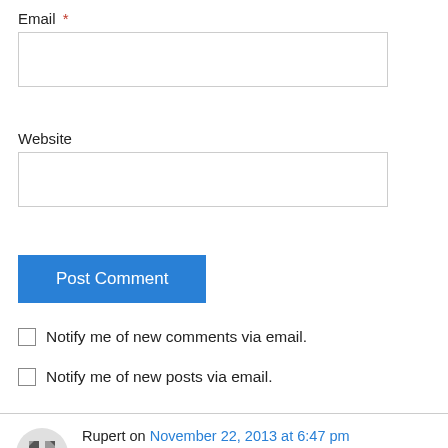Email *
Website
Post Comment
Notify me of new comments via email.
Notify me of new posts via email.
Rupert on November 22, 2013 at 6:47 pm
I literally laughed out loud.